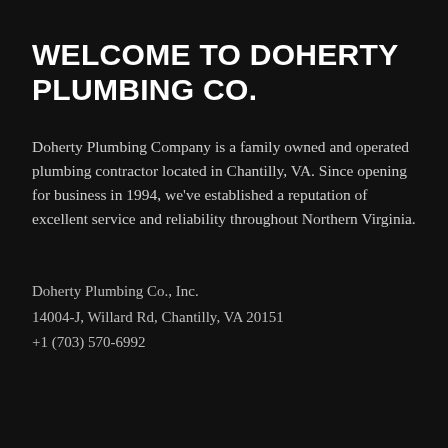WELCOME TO DOHERTY PLUMBING CO.
Doherty Plumbing Company is a family owned and operated plumbing contractor located in Chantilly, VA. Since opening for business in 1994, we've established a reputation of excellent service and reliability throughout Northern Virginia.
Doherty Plumbing Co., Inc.
14004-J, Willard Rd, Chantilly, VA 20151
+1 (703) 570-6992